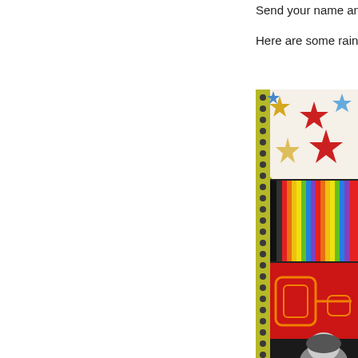Send your name and a
Here are some rainbow
[Figure (photo): A colorful scrapbook-style collage on a yellow-green spiral-bound background. Top section shows stars on a cream background (red, gold, blue stars). Middle section has multicolored vertical stripes (rainbow pencil/stripe pattern). Below that is a red panel with orange rectangular line designs. Bottom portion shows a black and white photo of a person (woman) resting her head on her arms, with a gold star/triangle shape visible at the bottom.]